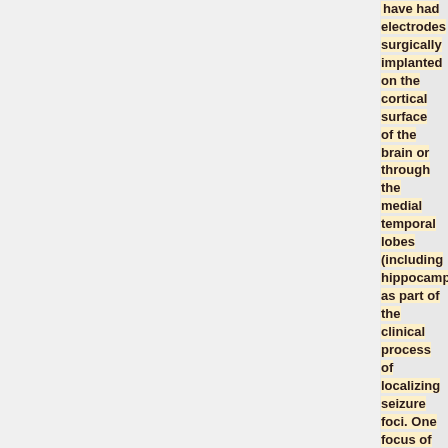have had electrodes surgically implanted on the cortical surface of the brain or through the medial temporal lobes (including hippocampus) as part of the clinical process of localizing seizure foci. One focus of this research is to determine the oscillatory correlates of successful episodic memory